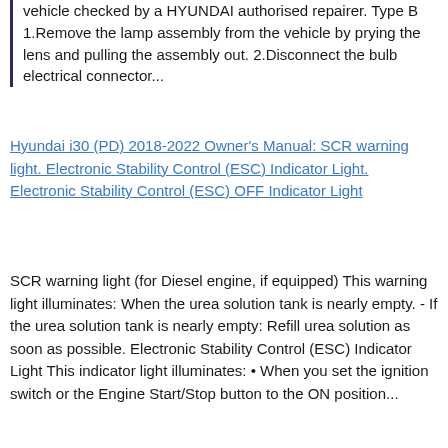vehicle checked by a HYUNDAI authorised repairer. Type B 1.Remove the lamp assembly from the vehicle by prying the lens and pulling the assembly out. 2.Disconnect the bulb electrical connector...
Hyundai i30 (PD) 2018-2022 Owner's Manual: SCR warning light. Electronic Stability Control (ESC) Indicator Light. Electronic Stability Control (ESC) OFF Indicator Light
SCR warning light (for Diesel engine, if equipped) This warning light illuminates: When the urea solution tank is nearly empty. - If the urea solution tank is nearly empty: Refill urea solution as soon as possible. Electronic Stability Control (ESC) Indicator Light This indicator light illuminates: • When you set the ignition switch or the Engine Start/Stop button to the ON position...